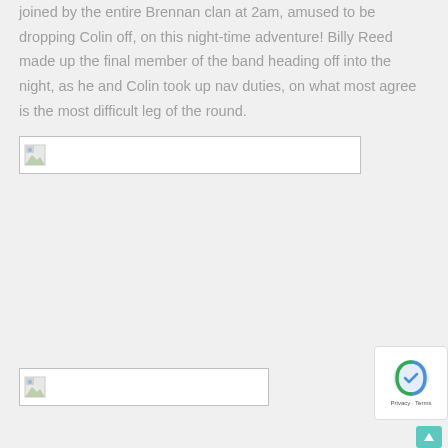joined by the entire Brennan clan at 2am, amused to be dropping Colin off, on this night-time adventure! Billy Reed made up the final member of the band heading off into the night, as he and Colin took up nav duties, on what most agree is the most difficult leg of the round.
[Figure (photo): Broken image placeholder (first image, wide)]
[Figure (photo): Broken image placeholder (second image, narrower)]